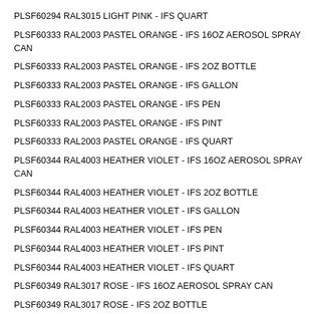PLSF60294 RAL3015 LIGHT PINK - IFS QUART
PLSF60333 RAL2003 PASTEL ORANGE - IFS 16OZ AEROSOL SPRAY CAN
PLSF60333 RAL2003 PASTEL ORANGE - IFS 2OZ BOTTLE
PLSF60333 RAL2003 PASTEL ORANGE - IFS GALLON
PLSF60333 RAL2003 PASTEL ORANGE - IFS PEN
PLSF60333 RAL2003 PASTEL ORANGE - IFS PINT
PLSF60333 RAL2003 PASTEL ORANGE - IFS QUART
PLSF60344 RAL4003 HEATHER VIOLET - IFS 16OZ AEROSOL SPRAY CAN
PLSF60344 RAL4003 HEATHER VIOLET - IFS 2OZ BOTTLE
PLSF60344 RAL4003 HEATHER VIOLET - IFS GALLON
PLSF60344 RAL4003 HEATHER VIOLET - IFS PEN
PLSF60344 RAL4003 HEATHER VIOLET - IFS PINT
PLSF60344 RAL4003 HEATHER VIOLET - IFS QUART
PLSF60349 RAL3017 ROSE - IFS 16OZ AEROSOL SPRAY CAN
PLSF60349 RAL3017 ROSE - IFS 2OZ BOTTLE
PLSF60349 RAL3017 ROSE - IFS GALLON